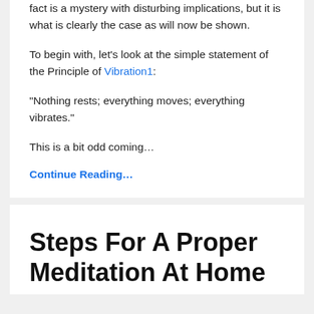fact is a mystery with disturbing implications, but it is what is clearly the case as will now be shown.
To begin with, let’s look at the simple statement of the Principle of Vibration1:
“Nothing rests; everything moves; everything vibrates.”
This is a bit odd coming…
Continue Reading…
Steps For A Proper Meditation At Home